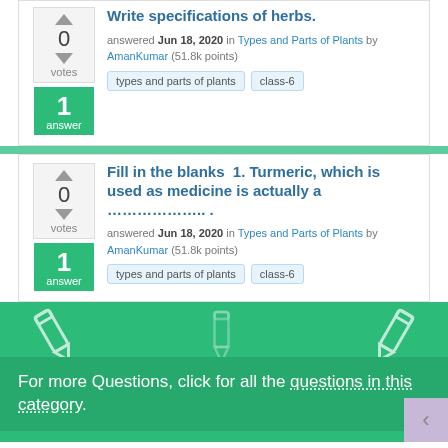Write specifications of herbs. answered Jun 18, 2020 in Types and Parts of Plants by AmanKumar (51.8k points) [tags: types and parts of plants, class-6] [1 answer]
Fill in the blanks 1. Turmeric, which is used as medicine is actually a ……………….. . answered Jun 18, 2020 in Types and Parts of Plants by AmanKumar (51.8k points) [tags: types and parts of plants, class-6] [1 answer]
For more Questions, click for all the questions in this category.